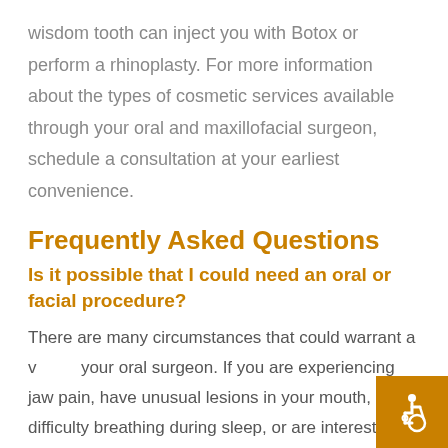wisdom tooth can inject you with Botox or perform a rhinoplasty. For more information about the types of cosmetic services available through your oral and maxillofacial surgeon, schedule a consultation at your earliest convenience.
Frequently Asked Questions
Is it possible that I could need an oral or facial procedure?
There are many circumstances that could warrant a visit to your oral surgeon. If you are experiencing jaw pain, have unusual lesions in your mouth, have difficulty breathing during sleep, or are interested in cosmetically enhancing